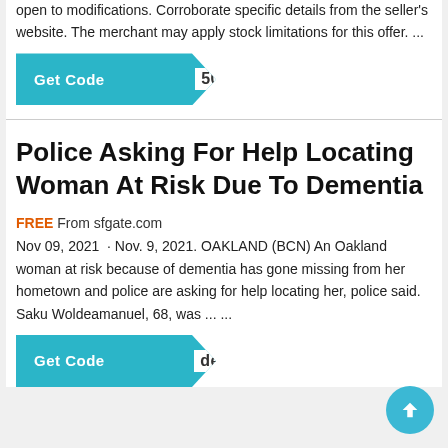open to modifications. Corroborate specific details from the seller's website. The merchant may apply stock limitations for this offer. ...
[Figure (other): Get Code button with teal background and chevron shape showing code '50']
Police Asking For Help Locating Woman At Risk Due To Dementia
FREE From sfgate.com
Nov 09, 2021 · Nov. 9, 2021. OAKLAND (BCN) An Oakland woman at risk because of dementia has gone missing from her hometown and police are asking for help locating her, police said. Saku Woldeamanuel, 68, was ... ...
[Figure (other): Get Code button with teal background and chevron shape showing partial code 'de']